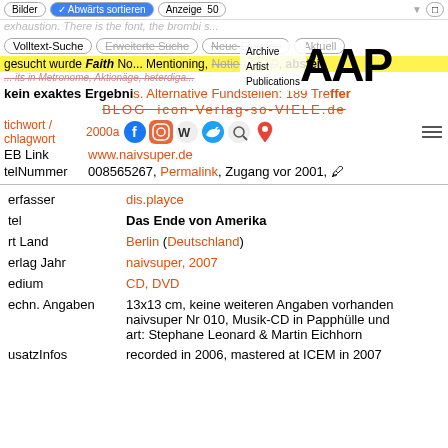Bilder | Abwärts sortieren | Anzeige 50
exhaustion. There is the font, the brombi s...
Volltext-Suche | Erweiterte Suche | Neue Einträge | Aktuell
[Figure (logo): AAP Archive Artist Publications logo with text Archive, Artist, Publications]
gesucht wurde Faith No... Mentioning, Notierung ID, abstei...
kein exaktes Ergebnis. Alternative Fundstellen: 189 Treffer
BLOG icon-Verlag-so-VIELE.de
Stichwort / Schlagwort: 2000a...
Social icons: Facebook, Instagram, Wikipedia, Twitter, Search, Maps
WEB Link: www.naivsuper.de
ArtikelNummer: 008565267, Permalink, Zugang vor 2001
| Field | Value |
| --- | --- |
| Verfasser | dis.playce |
| Titel | Das Ende von Amerika |
| Ort Land | Berlin (Deutschland) |
| Verlag Jahr | naivsuper, 2007 |
| Medium | CD, DVD |
| Techn. Angaben | 13x13 cm, keine weiteren Angaben vorhanden naivsuper Nr 010, Musik-CD in Papphülle und ... art: Stephane Leonard & Martin Eichhorn |
| ZusatzInfos | recorded in 2006, mastered at ICEM in 2007 |